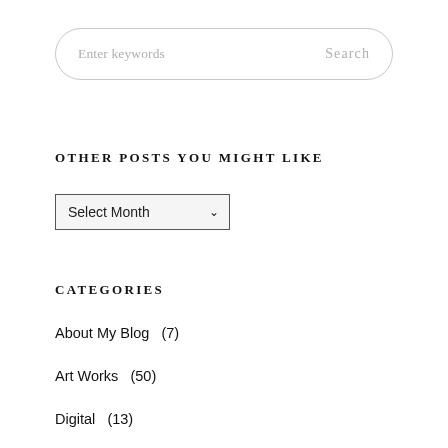[Figure (screenshot): Search bar with placeholder text 'Enter keywords' and 'Search' button on the right, styled with rounded border]
OTHER POSTS YOU MIGHT LIKE
[Figure (screenshot): Dropdown selector labeled 'Select Month' with a downward chevron arrow]
CATEGORIES
About My Blog  (7)
Art Works  (50)
Digital  (13)
Dpchallenge  (8)